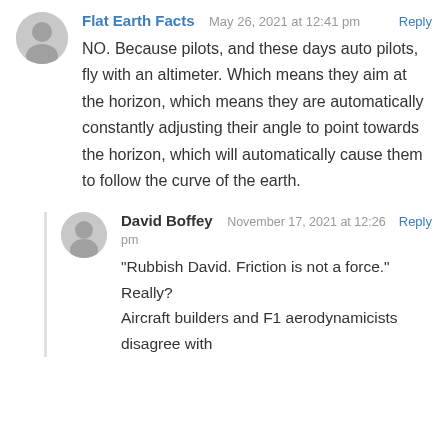Flat Earth Facts
May 26, 2021 at 12:41 pm
Reply
NO. Because pilots, and these days auto pilots, fly with an altimeter. Which means they aim at the horizon, which means they are automatically constantly adjusting their angle to point towards the horizon, which will automatically cause them to follow the curve of the earth.
David Boffey
November 17, 2021 at 12:26 pm
Reply
"Rubbish David. Friction is not a force." Really? Aircraft builders and F1 aerodynamicists disagree with